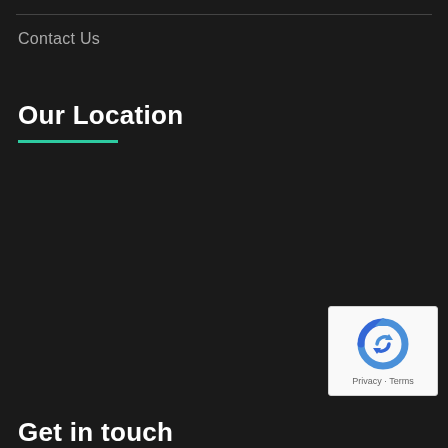Contact Us
Our Location
[Figure (other): reCAPTCHA widget box with circular arrow icon and Privacy · Terms text]
Get in touch